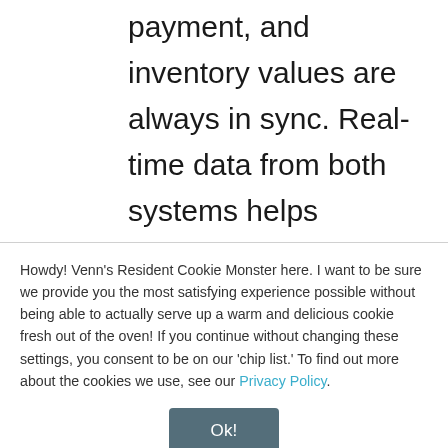payment, and inventory values are always in sync. Real-time data from both systems helps monitor buying behaviors so finance leaders can make quicker decisions that influence revenue and customer satisfaction. Additionally,
Howdy! Venn's Resident Cookie Monster here. I want to be sure we provide you the most satisfying experience possible without being able to actually serve up a warm and delicious cookie fresh out of the oven! If you continue without changing these settings, you consent to be on our 'chip list.' To find out more about the cookies we use, see our Privacy Policy.